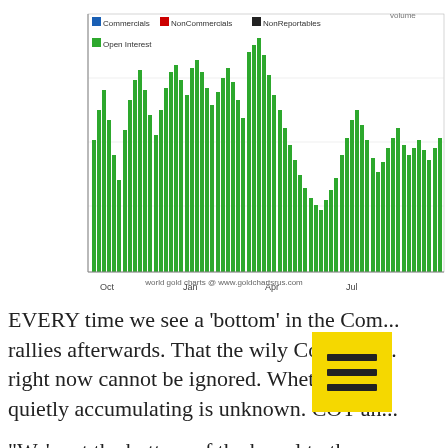[Figure (bar-chart): Bar chart showing Open Interest and COT data for gold over multiple years. Green bars represent Open Interest. Legend shows Commercials (blue), NonCommercials (red), NonReportables (black). Source: world gold charts @ www.goldchartsrus.com]
EVERY time we see a 'bottom' in the Com... rallies afterwards. That the wily Commerc... right now cannot be ignored. Whether thi... quietly accumulating is unknown. COT an...
“We’re at the bottom of the barrel to the c... remaining longs in the Managed Money, C... term value investors that are just... an...
And to put it in simpler terms, it’s impossibl...